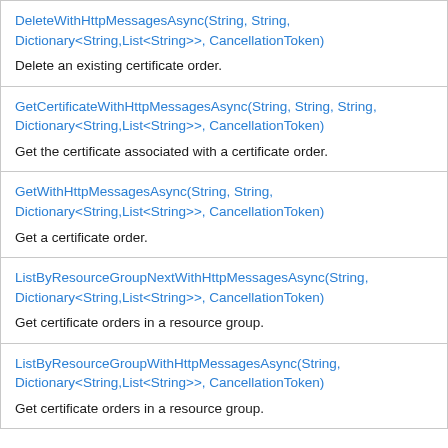DeleteWithHttpMessagesAsync(String, String, Dictionary<String,List<String>>, CancellationToken)
Delete an existing certificate order.
GetCertificateWithHttpMessagesAsync(String, String, String, Dictionary<String,List<String>>, CancellationToken)
Get the certificate associated with a certificate order.
GetWithHttpMessagesAsync(String, String, Dictionary<String,List<String>>, CancellationToken)
Get a certificate order.
ListByResourceGroupNextWithHttpMessagesAsync(String, Dictionary<String,List<String>>, CancellationToken)
Get certificate orders in a resource group.
ListByResourceGroupWithHttpMessagesAsync(String, Dictionary<String,List<String>>, CancellationToken)
Get certificate orders in a resource group.